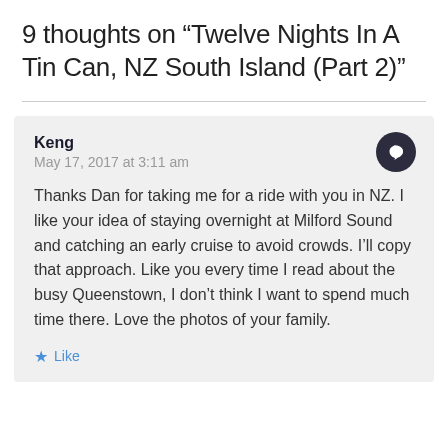9 thoughts on “Twelve Nights In A Tin Can, NZ South Island (Part 2)”
Keng
May 17, 2017 at 3:11 am

Thanks Dan for taking me for a ride with you in NZ. I like your idea of staying overnight at Milford Sound and catching an early cruise to avoid crowds. I’ll copy that approach. Like you every time I read about the busy Queenstown, I don’t think I want to spend much time there. Love the photos of your family.

★ Like